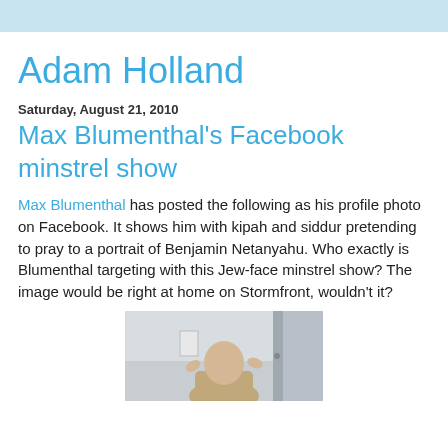Adam Holland
Saturday, August 21, 2010
Max Blumenthal's Facebook minstrel show
Max Blumenthal has posted the following as his profile photo on Facebook. It shows him with kipah and siddur pretending to pray to a portrait of Benjamin Netanyahu. Who exactly is Blumenthal targeting with this Jew-face minstrel show? The image would be right at home on Stormfront, wouldn't it?
[Figure (photo): A photograph showing a person with raised hands, partially visible, in an indoor setting with a white wall and a door in the background.]